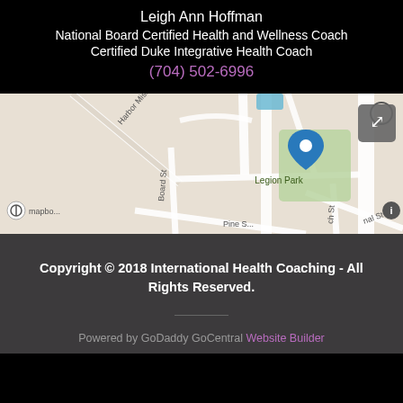Leigh Ann Hoffman
National Board Certified Health and Wellness Coach
Certified Duke Integrative Health Coach
(704) 502-6996
[Figure (map): Mapbox street map showing Legion Park area with a blue location pin marker, surrounding streets including Harbor Mist Rd, Board St, Pine St, and a fullscreen expand button in top right corner.]
Copyright © 2018 International Health Coaching - All Rights Reserved.
Powered by GoDaddy GoCentral Website Builder